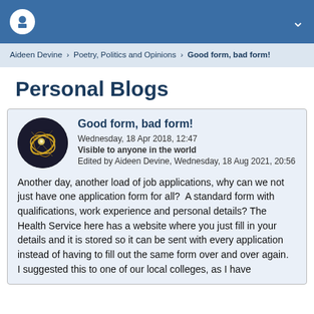Personal Blogs — top navigation bar
Aideen Devine > Poetry, Politics and Opinions > Good form, bad form!
Personal Blogs
Good form, bad form!
Wednesday, 18 Apr 2018, 12:47
Visible to anyone in the world
Edited by Aideen Devine, Wednesday, 18 Aug 2021, 20:56
Another day, another load of job applications, why can we not just have one application form for all?  A standard form with qualifications, work experience and personal details? The Health Service here has a website where you just fill in your details and it is stored so it can be sent with every application instead of having to fill out the same form over and over again.  I suggested this to one of our local colleges, as I have